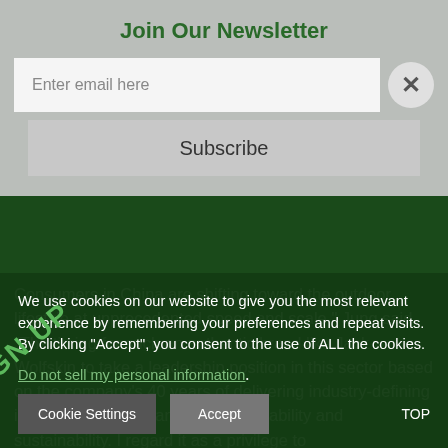Join Our Newsletter
Enter email here
Subscribe
Consumers in China are shifting toward the outdoor lifestyle at unprecedented speed and scale," Jung said. "The timing for such an authentic brand like Jack Wolfskin to take a leadership position in this sector based on the company's 40 years of delivering industry-defining innovation, performance, approachability and sustainability. I regard it as a privilege to
We use cookies on our website to give you the most relevant experience by remembering your preferences and repeat visits. By clicking “Accept”, you consent to the use of ALL the cookies.
Do not sell my personal information.
Cookie Settings
Accept
TOP
SIGN UP